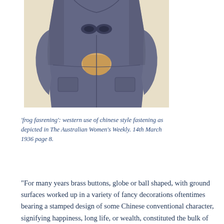[Figure (illustration): Illustration of a woman's torso wearing a dark blue/grey fitted dress or jacket with frog fastening buttons at the front, typical 1930s fashion illustration style.]
'frog fasrening': western use of chinese style fastening as depicted in The Australian Women's Weekly. 14th March 1936 page 8.
“For many years brass buttons, globe or ball shaped, with ground surfaces worked up in a variety of fancy decorations oftentimes bearing a stamped design of some Chinese conventional character, signifying happiness, long life, or wealth, constituted the bulk of the imports of foreign buttons. Since the 1911 revolution in China, however, the use of these globe or ball-shaped buttons has fallen off. In their